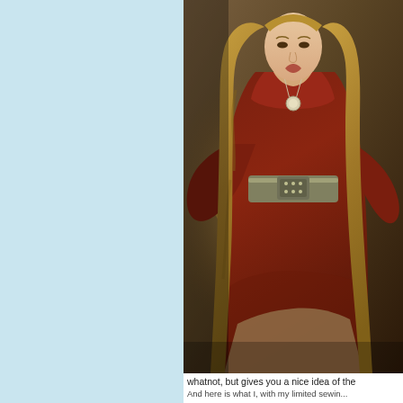[Figure (photo): A woman with long wavy blonde hair wearing a dark red/burgundy medieval-style gown with a wide ornate metal belt and a pendant necklace, standing in a dimly lit castle-like environment. This appears to be a character from the Game of Thrones television series.]
whatnot, but gives you a nice idea of the
And here is what I, with my limited sewin...